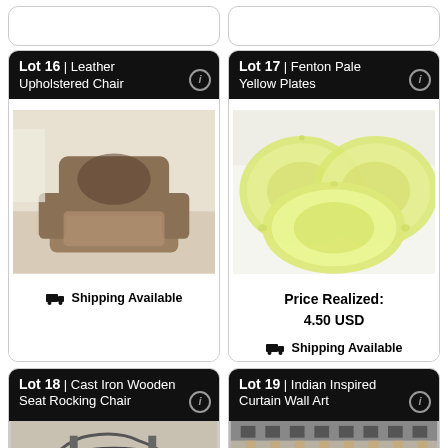[Figure (other): Top partial card left — cut off at top]
[Figure (other): Top partial card right — cut off at top]
Lot 16 | Leather Upholstered Chair
[Figure (photo): Photo of a worn leather upholstered armchair]
🚚 Shipping Available
Lot 17 | Fenton Pale Yellow Plates
[Figure (photo): Photo of three pale yellow Fenton glass plates]
Price Realized: 4.50 USD
🚚 Shipping Available
Lot 18 | Cast Iron Wooden Seat Rocking Chair
[Figure (photo): Partial photo of a cast iron wooden seat rocking chair]
Lot 19 | Indian Inspired Curtain Wall Art
[Figure (photo): Partial photo of Indian inspired curtain wall art]